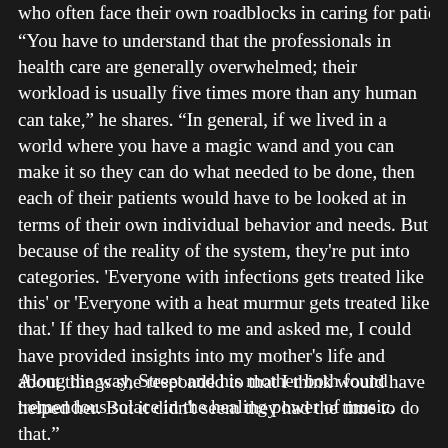who often face their own roadblocks in caring for patients.
“You have to understand that the professionals in health care are generally overwhelmed; their workload is usually five times more than any human can take,” he shares. “In general, if we lived in a world where you have a magic wand and you can make it so they can do what needed to be done, then each of their patients would have to be looked at in terms of their own individual behavior and needs. But because of the reality of the system, they're put into categories. 'Everyone with infections gets treated like this' or 'Everyone with a heat murmur gets treated like that.' If they had talked to me and asked me, I could have provided insights into my mother's life and about things she responded to that I think would have helped her. But it didn't seem they had the time to do that.”
Along the way, Street and his mother both found tremendous solace in the healing power of music.